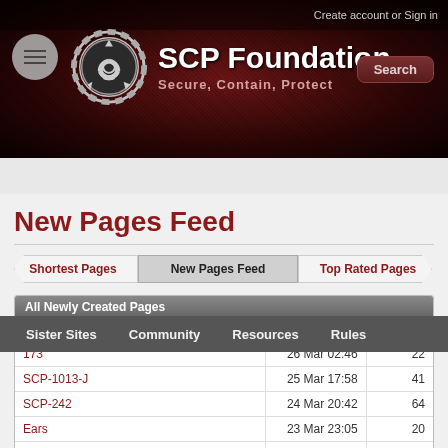Create account or Sign in
[Figure (logo): SCP Foundation logo with circular gear/hazard symbol, white on dark background]
SCP Foundation
Secure, Contain, Protect
Sister Sites  Community  Resources  Rules
New Pages Feed
Shortest Pages | New Pages Feed | Top Rated Pages
| Page |  |  |
| --- | --- | --- |
| 173 | 26 Mar 02:46 | 22 |
| SCP-1013-J | 25 Mar 17:58 | 41 |
| SCP-242 | 24 Mar 20:42 | 64 |
| Ears | 23 Mar 23:05 | 20 |
| Visions of a Better World | 22 Mar 07:54 | 133 |
| SCP-536 | 20 Mar 00:03 | 55 |